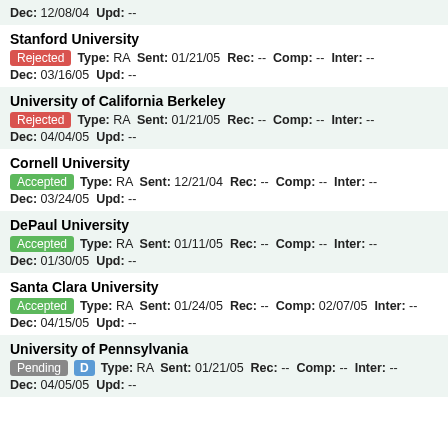Dec: 12/08/04  Upd: --
Stanford University
Rejected  Type: RA  Sent: 01/21/05  Rec: --  Comp: --  Inter: --
Dec: 03/16/05  Upd: --
University of California Berkeley
Rejected  Type: RA  Sent: 01/21/05  Rec: --  Comp: --  Inter: --
Dec: 04/04/05  Upd: --
Cornell University
Accepted  Type: RA  Sent: 12/21/04  Rec: --  Comp: --  Inter: --
Dec: 03/24/05  Upd: --
DePaul University
Accepted  Type: RA  Sent: 01/11/05  Rec: --  Comp: --  Inter: --
Dec: 01/30/05  Upd: --
Santa Clara University
Accepted  Type: RA  Sent: 01/24/05  Rec: --  Comp: 02/07/05  Inter: --
Dec: 04/15/05  Upd: --
University of Pennsylvania
Pending  D  Type: RA  Sent: 01/21/05  Rec: --  Comp: --  Inter: --
Dec: 04/05/05  Upd: --